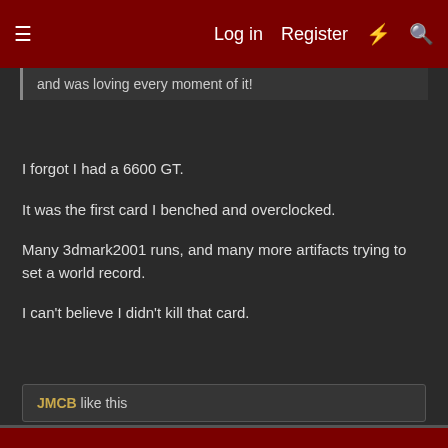Log in  Register  #56
and was loving every moment of it!
I forgot I had a 6600 GT.
It was the first card I benched and overclocked.
Many 3dmark2001 runs, and many more artifacts trying to set a world record.
I can't believe I didn't kill that card.
JMCB like this
Dec 23, 2019  #56
-=SOF=-WID99
Limp Gawd